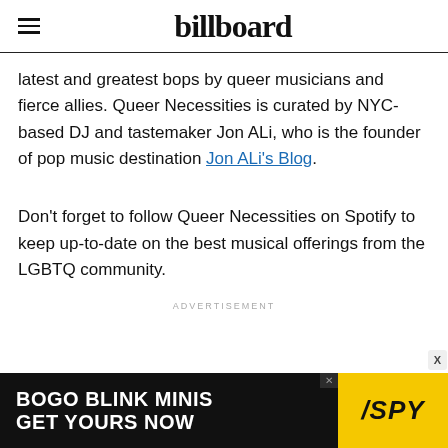billboard
latest and greatest bops by queer musicians and fierce allies. Queer Necessities is curated by NYC-based DJ and tastemaker Jon ALi, who is the founder of pop music destination Jon ALi's Blog.
Don't forget to follow Queer Necessities on Spotify to keep up-to-date on the best musical offerings from the LGBTQ community.
ADVERTISEMENT
[Figure (screenshot): Advertisement banner: 'BOGO BLINK MINIS GET YOURS NOW' with SPY logo on yellow background]